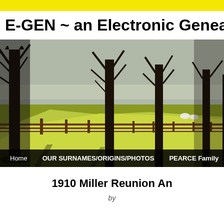E-GEN ~ an Electronic Genealo
[Figure (photo): Row of large bare trees along a wooden fence in a grassy field, with sheep visible in the distance. Bright yellow-green grass in sunlight.]
Home   OUR SURNAMES/ORIGINS/PHOTOS   PEARCE Family
1910 Miller Reunion An
by